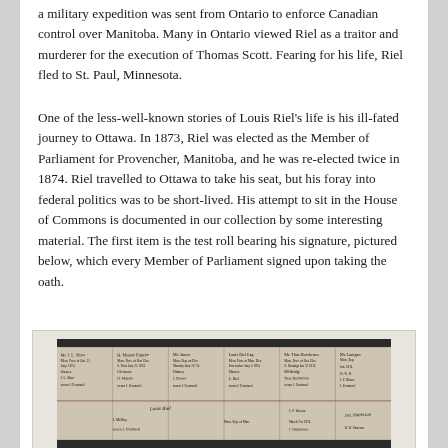a military expedition was sent from Ontario to enforce Canadian control over Manitoba. Many in Ontario viewed Riel as a traitor and murderer for the execution of Thomas Scott. Fearing for his life, Riel fled to St. Paul, Minnesota.
One of the less-well-known stories of Louis Riel's life is his ill-fated journey to Ottawa. In 1873, Riel was elected as the Member of Parliament for Provencher, Manitoba, and he was re-elected twice in 1874. Riel travelled to Ottawa to take his seat, but his foray into federal politics was to be short-lived. His attempt to sit in the House of Commons is documented in our collection by some interesting material. The first item is the test roll bearing his signature, pictured below, which every Member of Parliament signed upon taking the oath.
[Figure (photo): A historical handwritten test roll document with multiple columns of signatures and text in cursive script, photographed on a dark background. This is the test roll bearing Louis Riel's signature, signed upon taking the parliamentary oath.]